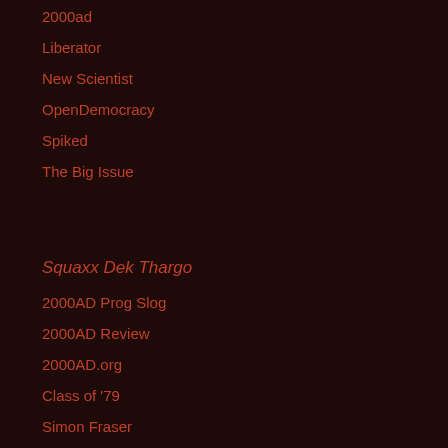2000ad
Liberator
New Scientist
OpenDemocracy
Spiked
The Big Issue
Squaxx Dek Thargo
2000AD Prog Slog
2000AD Review
2000AD.org
Class of '79
Simon Fraser